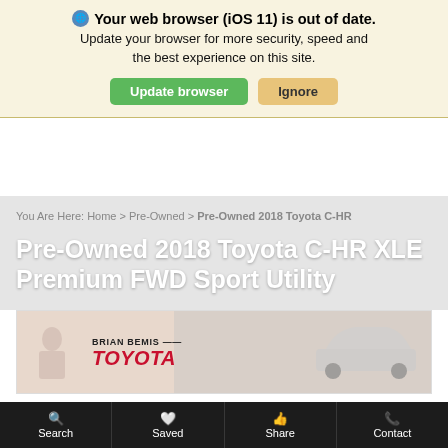Your web browser (iOS 11) is out of date. Update your browser for more security, speed and the best experience on this site.
Update browser | Ignore
You Are Here: Home > Pre-Owned > Pre-Owned 2018 Toyota C-HR
Pre-Owned 2018 Toyota C-HR XLE Premium FWD Sport Utility
[Figure (photo): Brian Bemis Toyota dealership logo with partial vehicle silhouette]
Search | Saved | Share | Contact